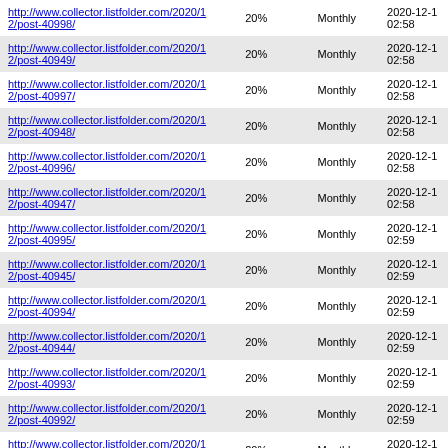| http://www.collector.listfolder.com/2020/12/post-40998/ | 20% | Monthly | 2020-12-1 02:58 |
| http://www.collector.listfolder.com/2020/12/post-40949/ | 20% | Monthly | 2020-12-1 02:58 |
| http://www.collector.listfolder.com/2020/12/post-40997/ | 20% | Monthly | 2020-12-1 02:58 |
| http://www.collector.listfolder.com/2020/12/post-40948/ | 20% | Monthly | 2020-12-1 02:58 |
| http://www.collector.listfolder.com/2020/12/post-40996/ | 20% | Monthly | 2020-12-1 02:58 |
| http://www.collector.listfolder.com/2020/12/post-40947/ | 20% | Monthly | 2020-12-1 02:58 |
| http://www.collector.listfolder.com/2020/12/post-40995/ | 20% | Monthly | 2020-12-1 02:59 |
| http://www.collector.listfolder.com/2020/12/post-40945/ | 20% | Monthly | 2020-12-1 02:59 |
| http://www.collector.listfolder.com/2020/12/post-40994/ | 20% | Monthly | 2020-12-1 02:59 |
| http://www.collector.listfolder.com/2020/12/post-40944/ | 20% | Monthly | 2020-12-1 02:59 |
| http://www.collector.listfolder.com/2020/12/post-40993/ | 20% | Monthly | 2020-12-1 02:59 |
| http://www.collector.listfolder.com/2020/12/post-40992/ | 20% | Monthly | 2020-12-1 02:59 |
| http://www.collector.listfolder.com/2020/12/post-40990/ | 20% | Monthly | 2020-12-1 02:59 |